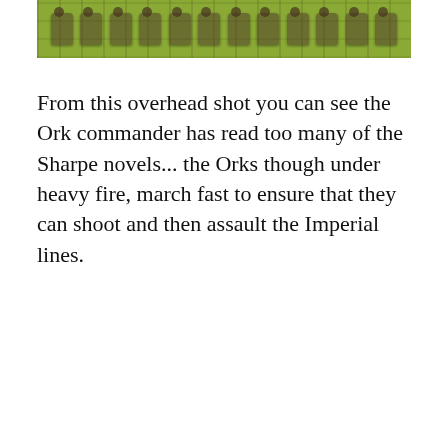[Figure (photo): Overhead photograph of miniature wargaming figures (Orks) lined up on a green textured surface]
From this overhead shot you can see the Ork commander has read too many of the Sharpe novels... the Orks though under heavy fire, march fast to ensure that they can shoot and then assault the Imperial lines.